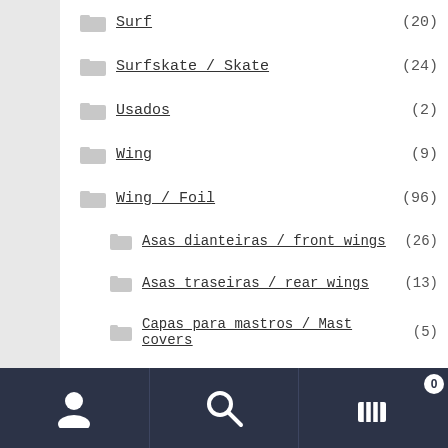Surf (20)
Surfskate / Skate (24)
Usados (2)
Wing (9)
Wing / Foil (96)
Asas dianteiras / front wings (26)
Asas traseiras / rear wings (13)
Capas para mastros / Mast covers (5)
Foils completos / Complete Foils (6)
Fuselagens / fuselages (10)
Mastros / masts (10)
Outros acessórios / other accessories (9)